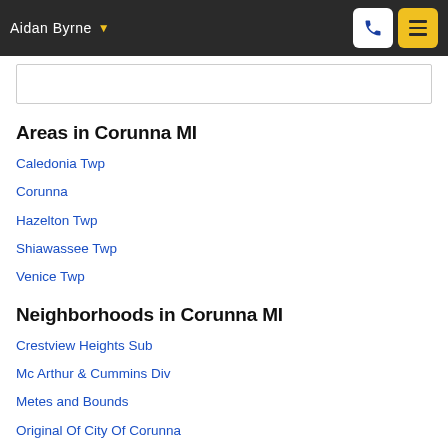Aidan Byrne
Areas in Corunna MI
Caledonia Twp
Corunna
Hazelton Twp
Shiawassee Twp
Venice Twp
Neighborhoods in Corunna MI
Crestview Heights Sub
Mc Arthur & Cummins Div
Metes and Bounds
Original Of City Of Corunna
Original Plat Of City Of Corunna